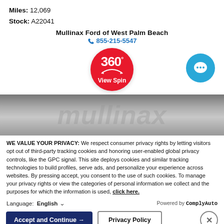Miles: 12,069
Stock: A22041
Mullinax Ford of West Palm Beach
855-215-5547
[Figure (illustration): Red circular badge with '360°' text and 'View Spin' label with rotation arrows]
[Figure (photo): Mullinax dealership banner with greyscale gradient background and 'mullinax' text watermark]
WE VALUE YOUR PRIVACY: We respect consumer privacy rights by letting visitors opt out of third-party tracking cookies and honoring user-enabled global privacy controls, like the GPC signal. This site deploys cookies and similar tracking technologies to build profiles, serve ads, and personalize your experience across websites. By pressing accept, you consent to the use of such cookies. To manage your privacy rights or view the categories of personal information we collect and the purposes for which the information is used, click here.
Language: English  ∨   Powered by ComplyAuto
Accept and Continue →   Privacy Policy